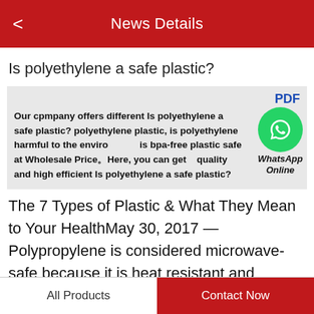News Details
Is polyethylene a safe plastic?
PDF
Our cpmpany offers different Is polyethylene a safe plastic? polyethylene plastic, is polyethylene harmful to the environment, is bpa-free plastic safe at Wholesale Price。Here, you can get quality and high efficient Is polyethylene a safe plastic?
The 7 Types of Plastic & What They Mean to Your HealthMay 30, 2017 — Polypropylene is considered microwave-safe because it is heat resistant and therefore won't get warped in the microwave. This does not mean it
All Products	Contact Now